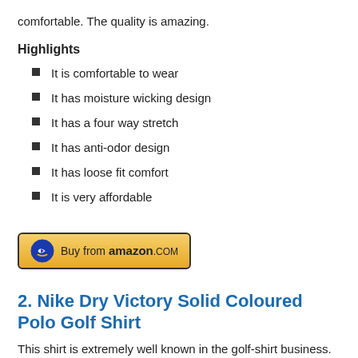comfortable. The quality is amazing.
Highlights
It is comfortable to wear
It has moisture wicking design
It has a four way stretch
It has anti-odor design
It has loose fit comfort
It is very affordable
[Figure (other): Buy from amazon.com button]
2. Nike Dry Victory Solid Coloured Polo Golf Shirt
This shirt is extremely well known in the golf-shirt business. From the material to the design, this shirt makes from an